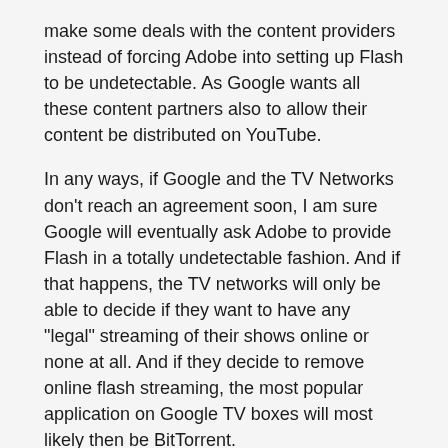make some deals with the content providers instead of forcing Adobe into setting up Flash to be undetectable. As Google wants all these content partners also to allow their content be distributed on YouTube.
In any ways, if Google and the TV Networks don't reach an agreement soon, I am sure Google will eventually ask Adobe to provide Flash in a totally undetectable fashion. And if that happens, the TV networks will only be able to decide if they want to have any "legal" streaming of their shows online or none at all. And if they decide to remove online flash streaming, the most popular application on Google TV boxes will most likely then be BitTorrent.
Related articles
Vizio and Toshiba reportedly to announce Google TV sets at CES [TNW Google] (thenextweb.com)
Vizio Blocks Google TV Users (thenextweb.com)